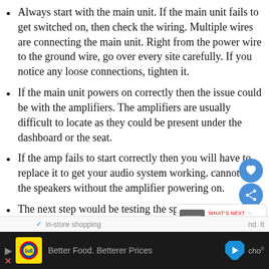Always start with the main unit. If the main unit fails to get switched on, then check the wiring. Multiple wires are connecting the main unit. Right from the power wire to the ground wire, go over every site carefully. If you notice any loose connections, tighten it.
If the main unit powers on correctly then the issue could be with the amplifiers. The amplifiers are usually difficult to locate as they could be present under the dashboard or the seat.
If the amp fails to start correctly then you will have to replace it to get your audio system working. cannot test the speakers without the amplifier powering on.
The next step would be testing the speakers.
[Figure (screenshot): Ad bar at the bottom with Lidl logo, 'Better Food. Betterer Prices' text, and navigation arrow icon. Above it a partial search bar showing 'in-store shopping' with a checkmark.]